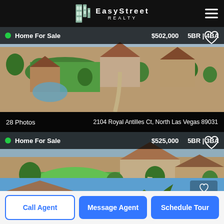EasyStreet Realty
Home For Sale  $502,000  5BR | 4BA
28 Photos  2104 Royal Antilles Ct, North Las Vegas 89031
[Figure (photo): Aerial photo of a residential neighborhood in North Las Vegas showing houses with tile roofs and green landscaped yard]
Home For Sale  $525,000  5BR | 3BA
62 Photos  324 Morro Dunes Ave, North Las Vegas 89031
[Figure (photo): Aerial photo of a home with large green backyard in North Las Vegas residential neighborhood]
[Figure (photo): Partial view of a third home listing with palm trees and blue sky]
Call Agent
Message Agent
Schedule Tour